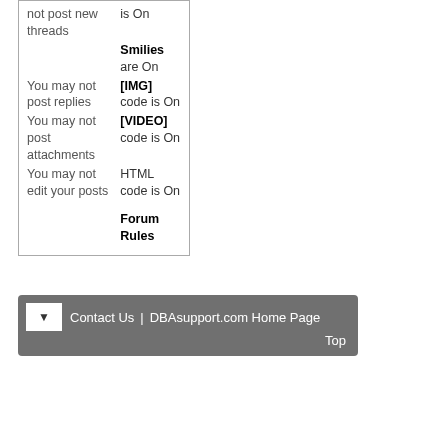| not post new threads | is On |
|  | Smilies are On |
| You may not post replies | [IMG] code is On |
| You may not post attachments | [VIDEO] code is On |
| You may not edit your posts | HTML code is On |
|  | Forum Rules |
Contact Us   DBAsupport.com Home Page   Top